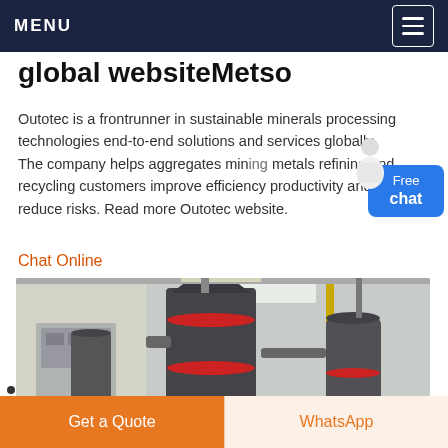MENU
global websiteMetso
Outotec is a frontrunner in sustainable minerals processing technologies end-to-end solutions and services globally. The company helps aggregates mining metals refining and recycling customers improve efficiency productivity and reduce risks. Read more Outotec website.
Chat Online
[Figure (photo): Industrial minerals processing machinery including vertical mills and cyclone separators inside a factory building]
Get a Quote
WhatsApp